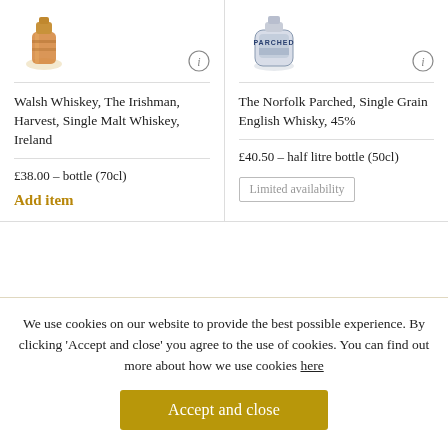[Figure (photo): Walsh Whiskey bottle photo (amber/glass tumbler) with info icon]
[Figure (photo): The Norfolk Parched bottle photo with info icon]
Walsh Whiskey, The Irishman, Harvest, Single Malt Whiskey, Ireland
The Norfolk Parched, Single Grain English Whisky, 45%
£38.00 – bottle (70cl)
Add item
£40.50 – half litre bottle (50cl)
Limited availability
We use cookies on our website to provide the best possible experience. By clicking 'Accept and close' you agree to the use of cookies. You can find out more about how we use cookies here
Accept and close